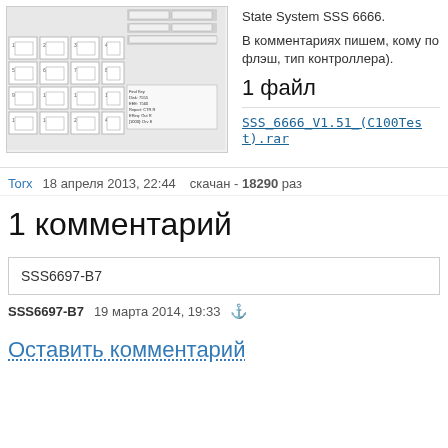[Figure (screenshot): Screenshot of a software UI grid/matrix interface showing numbered cells arranged in rows and columns with control buttons]
State System SSS 6666.
В комментариях пишем, кому по... флэш, тип контроллера).
1 файл
SSS_6666_V1.51_(C100Test).rar
Torx   18 апреля 2013, 22:44   скачан - 18290 раз
1 комментарий
SSS6697-B7
SSS6697-B7   19 марта 2014, 19:33
Оставить комментарий